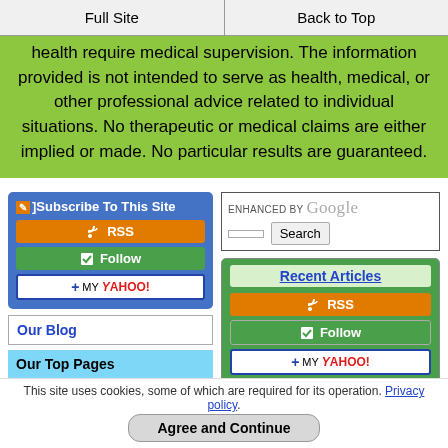Full Site | Back to Top
health require medical supervision. The information provided is not intended to serve as health, medical, or other professional advice related to individual situations. No therapeutic or medical claims are either implied or made. No particular results are guaranteed.
[Figure (screenshot): Subscribe To This Site widget with RSS, Follow, and My Yahoo! buttons on blue background]
Our Blog
Our Top Pages
Prevent Blood Clots
[Figure (screenshot): Google search box with ENHANCED BY Google label and Search button]
Recent Articles
[Figure (screenshot): Recent Articles RSS, Follow, and My Yahoo! buttons on green background]
Scientists find a
This site uses cookies, some of which are required for its operation. Privacy policy.
Agree and Continue